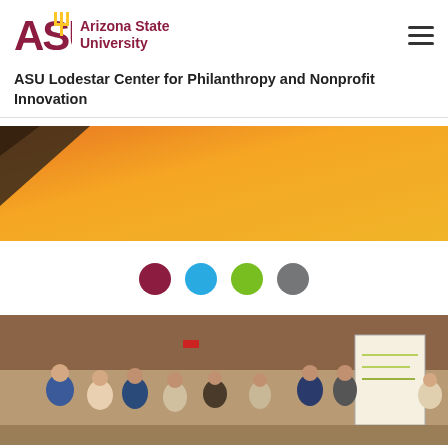ASU Arizona State University
ASU Lodestar Center for Philanthropy and Nonprofit Innovation
[Figure (photo): Orange/golden background hero image, partially visible, showing an orange gradient with a dark shape in the upper left corner.]
[Figure (infographic): Four colored navigation dots: maroon, blue, green, gray — carousel indicators.]
[Figure (photo): Photo of a group of people in a conference/meeting room, standing and reviewing material on a whiteboard or flipchart.]